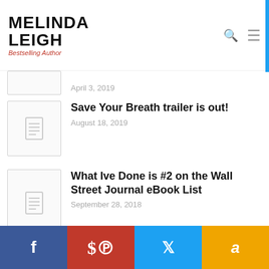MELINDA LEIGH Bestselling Author
Save Your Breath trailer is out! — August 18, 2019
What Ive Done is #2 on the Wall Street Journal eBook List — September 28, 2018
What I've Done is out! — September 21, 2018
Facebook | Pinterest | Twitter | Amazon